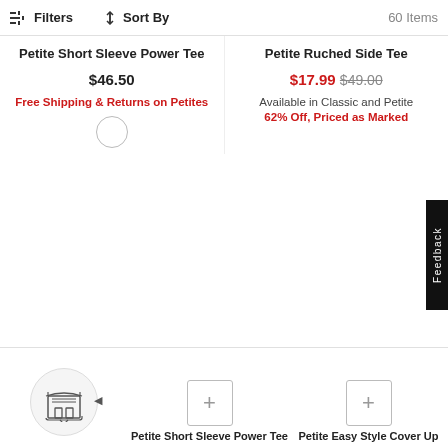Filters  Sort By  60 Items
Petite Short Sleeve Power Tee
$46.50
Free Shipping & Returns on Petites
Petite Ruched Side Tee
$17.99  $49.00
Available in Classic and Petite
62% Off, Priced as Marked
Petite Short Sleeve Power Tee
Petite Easy Style Cover Up
Feedback